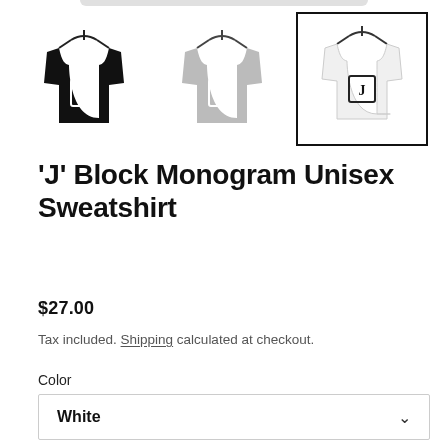[Figure (photo): Three sweatshirt product thumbnails on hangers: black, grey, and white (selected), each featuring a 'J' block monogram logo]
'J' Block Monogram Unisex Sweatshirt
$27.00
Tax included. Shipping calculated at checkout.
Color
White